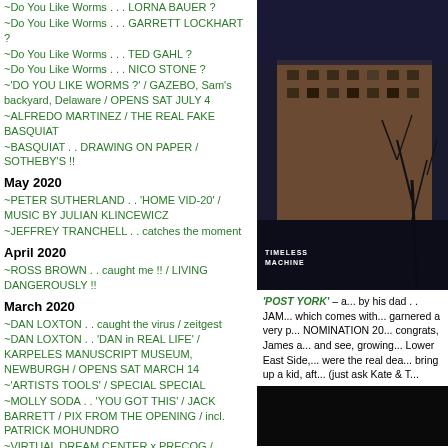~Do You Like Worms . . . LORNA BAUER ?
~Do You Like Worms . . . GARRETT LOCKHART ?
~Do You Like Worms . . . TED GAHL ?
~Do You Like Worms . . . NICO STONE ?
~'DO YOU LIKE WORMS ?' / GAZEBO, Sam's backyard, Delaware / OPENS SAT JULY 4
~ALFREDO MARTINEZ / THE REAL FAKE BASQUIAT
~BASQUIAT . . DRAWING ON PAPER / SOTHEBY'S !!
May 2020
~PETER SUTHERLAND . . 'HOME VID-20' / MUSIC BY JULIAN KLINCEWICZ
~JEFFREY TRANCHELL . . catches the moment
April 2020
~ROSS BROWN . . caught me !! / LIVING DANGEROUSLY !!
March 2020
~DAN LOXTON . . caught the virus / zeitgest
~DAN LOXTON . . 'DAN in REAL LIFE' / KARPELES MANUSCRIPT MUSEUM, NEWBURGH / OPENS SAT MARCH 14
~'ARTISTS TOOLS' / SPECIAL SPECIAL
~MOLLY SODA . . 'YOU GOT THIS' / JACK BARRETT / PIX FROM THE OPENING / incl. PATRICK MOHUNDRO
~VIRTUAL DREAM CENTER x PRECOG / HALEY JOSEPHS OPENING
~HALEY JOSEPHS . . 'PAINTINGS & DRAWINGS for CHILDHOOD'S END ' / JACK BARRETT / PIX FROM THE OPENING
February 2020
~HALEY JOSEPHS . . 'PAINTINGS & DRAWINGS for CHILDHOOD'S END' / JACK BARRETT / OPENS SUN MARCH 1
~HALEY JOSEPHS . . . YALE MFA OPEN STUDIO 2013
~JORDAN CASTEEL . . IN THE NEWS / YALE MFA OPEN
[Figure (photo): Dark atmospheric photo of a building with bare trees against a stormy sky, with 'TIMELESS MACHINE' text overlay at bottom left]
'POST YORK' – a... by his dad . . JAM... which comes with... garnered a very p... NOMINATION 20... congrats, James a... and see, growing... Lower East Side,... were the real dea... bring up a kid, aft... (just ask Kate & T...
[Figure (photo): Dark/black image at bottom right]